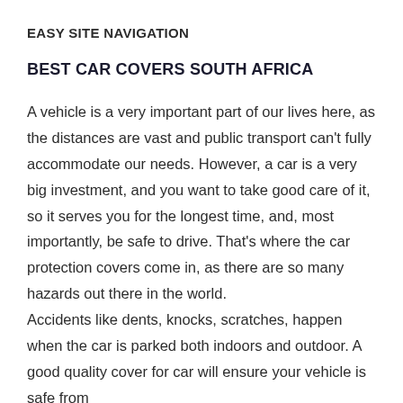EASY SITE NAVIGATION
BEST CAR COVERS SOUTH AFRICA
A vehicle is a very important part of our lives here, as the distances are vast and public transport can't fully accommodate our needs. However, a car is a very big investment, and you want to take good care of it, so it serves you for the longest time, and, most importantly, be safe to drive. That's where the car protection covers come in, as there are so many hazards out there in the world.
Accidents like dents, knocks, scratches, happen when the car is parked both indoors and outdoor. A good quality cover for car will ensure your vehicle is safe from